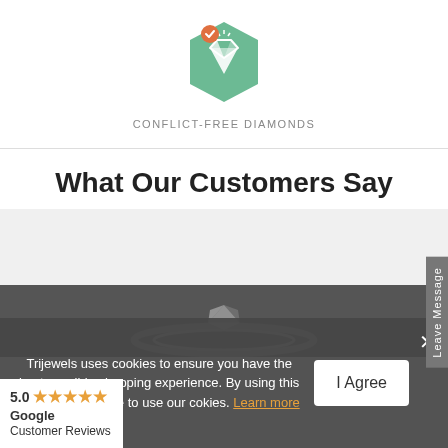[Figure (logo): Green hexagon icon with white diamond gemstone symbol and small orange checkmark circle badge in top-left]
CONFLICT-FREE DIAMONDS
What Our Customers Say
[Figure (photo): Gray placeholder area with a photo strip at the bottom showing a diamond ring]
Trijewels uses cookies to ensure you have the best possible shopping experience. By using this website you agree to use our cookies. Learn more
I Agree
5.0 ★★★★★ Google Customer Reviews